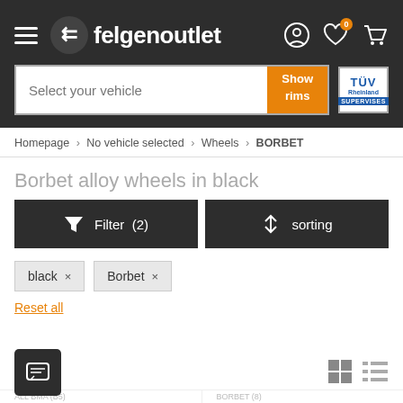[Figure (screenshot): felgenoutlet website header with hamburger menu, logo, and icons for account, wishlist (0), and cart]
[Figure (screenshot): Search bar with 'Select your vehicle' placeholder, 'Show rims' orange button, and TÜV Rheinland badge]
Homepage › No vehicle selected › Wheels › BORBET
Borbet alloy wheels in black
[Figure (screenshot): Filter (2) and sorting buttons]
black ×
Borbet ×
Reset all
[Figure (screenshot): Grid view icons and list view icons at bottom right; chat button at bottom left; partial product row cut off at bottom]